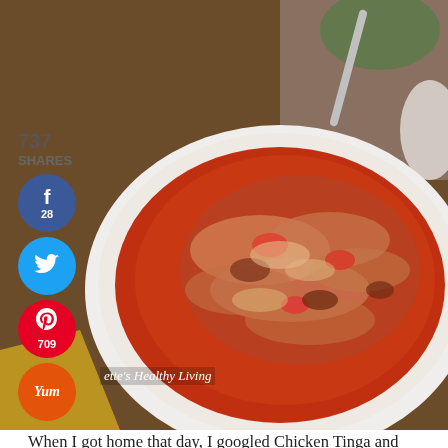[Figure (photo): A white plate containing shredded chicken tinga in a red tomato-chipotle sauce, photographed from above at an angle. The plate sits on a wooden surface with colorful items in the background.]
737
SHARES
f
28
Twitter bird icon
p
709
yum
ette's Healthy Living
When I got home that day, I googled Chicken Tinga and found a few recipes as well as a recipe for another chicken filling I've had at a local restaurant, Valencia Luncheria, in their Carlo Arepa. Both chicken fillings shared some common elements, so I took what I